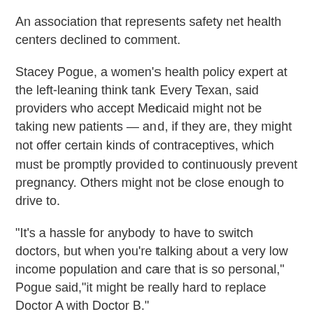An association that represents safety net health centers declined to comment.
Stacey Pogue, a women's health policy expert at the left-leaning think tank Every Texan, said providers who accept Medicaid might not be taking new patients — and, if they are, they might not offer certain kinds of contraceptives, which must be promptly provided to continuously prevent pregnancy. Others might not be close enough to drive to.
"It's a hassle for anybody to have to switch doctors, but when you're talking about a very low income population and care that is so personal," Pogue said,"it might be really hard to replace Doctor A with Doctor B."
A spokesperson for the state's Health and Human Services Commission referenced a recent letter the agency sent to Planned Parenthood when asked where else the Medicaid patients could receive health care. The letter, dated Jan. 4, offered the health provider 30 days to reassign its patients to other providers.